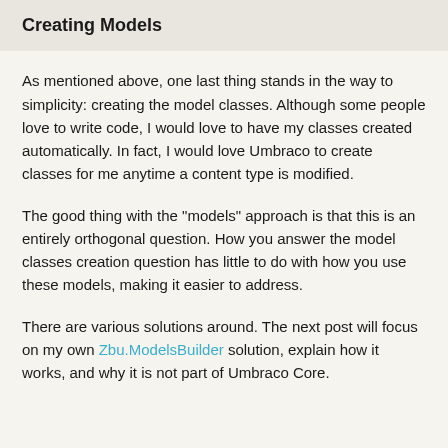Creating Models
As mentioned above, one last thing stands in the way to simplicity: creating the model classes. Although some people love to write code, I would love to have my classes created automatically. In fact, I would love Umbraco to create classes for me anytime a content type is modified.
The good thing with the "models" approach is that this is an entirely orthogonal question. How you answer the model classes creation question has little to do with how you use these models, making it easier to address.
There are various solutions around. The next post will focus on my own Zbu.ModelsBuilder solution, explain how it works, and why it is not part of Umbraco Core.